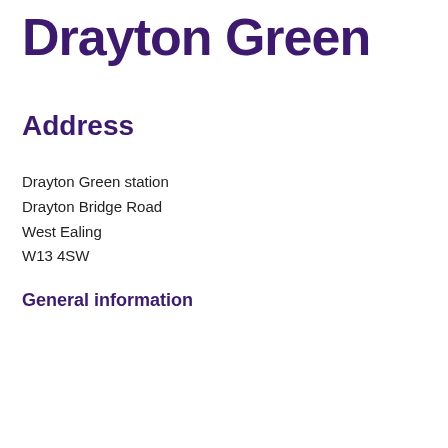Drayton Green
Address
Drayton Green station
Drayton Bridge Road
West Ealing
W13 4SW
General information
| Station Operator: | GW |
| Station Code: | DRG |
| Staffing Level: | unstaffed |
| CCTV: | Yes |